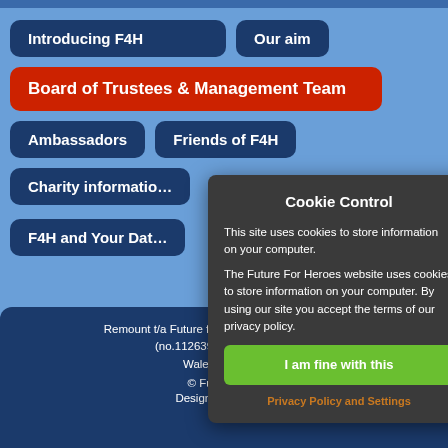Introducing F4H
Our aim
Board of Trustees & Management Team
Ambassadors
Friends of F4H
Charity information
F4H and Your Data
Cookie Control
This site uses cookies to store information on your computer.
The Future For Heroes website uses cookies to store information on your computer. By using our site you accept the terms of our privacy policy.
I am fine with this
Privacy Policy and Settings
Remount t/a Future for Heroes is a registered charity (no.1126396) and registered company in England and Wales (no. 67...)
© Future Fo...
Designed by ima...